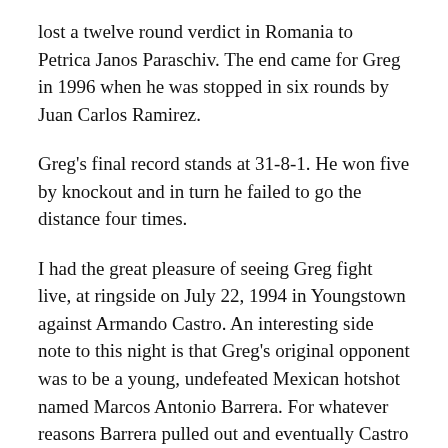lost a twelve round verdict in Romania to Petrica Janos Paraschiv. The end came for Greg in 1996 when he was stopped in six rounds by Juan Carlos Ramirez.
Greg's final record stands at 31-8-1. He won five by knockout and in turn he failed to go the distance four times.
I had the great pleasure of seeing Greg fight live, at ringside on July 22, 1994 in Youngstown against Armando Castro. An interesting side note to this night is that Greg's original opponent was to be a young, undefeated Mexican hotshot named Marcos Antonio Barrera. For whatever reasons Barrera pulled out and eventually Castro became Greg's foe. Castro was no slouch, in fact he had twice unsuccessfully challenged for world titles. He was the last man to fight the great Khaosai Galaxy.
On this night with the famed Victor Valle working his